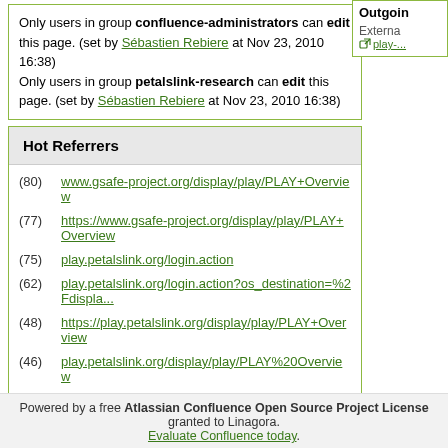Only users in group confluence-administrators can edit this page. (set by Sébastien Rebiere at Nov 23, 2010 16:38) Only users in group petalslink-research can edit this page. (set by Sébastien Rebiere at Nov 23, 2010 16:38)
Hot Referrers
(80) www.gsafe-project.org/display/play/PLAY+Overview
(77) https://www.gsafe-project.org/display/play/PLAY+Overview
(75) play.petalslink.org/login.action
(62) play.petalslink.org/login.action?os_destination=%2Fdispla...
(48) https://play.petalslink.org/display/play/PLAY+Overview
(46) play.petalslink.org/display/play/PLAY%20Overview
(31) play.petalslink.org/display/play/PLAY+Overview
(28) play.petalslink.org/login.action?os_destination=%2Fdispla...
(27) research.linagora.com/display/play/PLAY+Overview
(24) https://play.petalslink.org/pages/viewpreviousversions.ac...
Powered by a free Atlassian Confluence Open Source Project License granted to Linagora. Evaluate Confluence today.